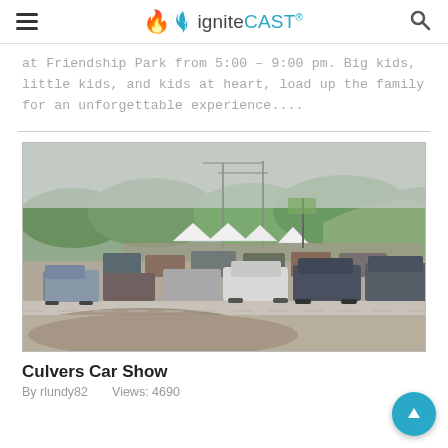igniteCAST®
at Friendship Park from 5:00 – 9:00 pm. Big kids, little kids, and kids at heart, load up the family for an unforgettable experience....
[Figure (photo): Outdoor car show with many vehicles parked in a large lot, white event tents visible, green tree-covered hillside in background, dirt mound in foreground.]
Culvers Car Show
By rlundy82    Views: 4690